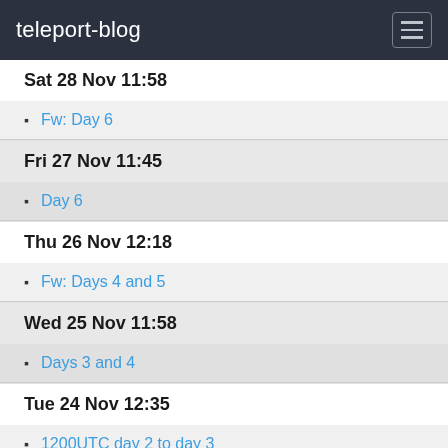teleport-blog
Sat 28 Nov 11:58
Fw: Day 6
Fri 27 Nov 11:45
Day 6
Thu 26 Nov 12:18
Fw: Days 4 and 5
Wed 25 Nov 11:58
Days 3 and 4
Tue 24 Nov 12:35
1200UTC day 2 to day 3
Mon 23 Nov 11:12
We're off......
Sun 22 Nov 09:52
The day I've been waiting for.....>
Sun 15 Nov 19:19